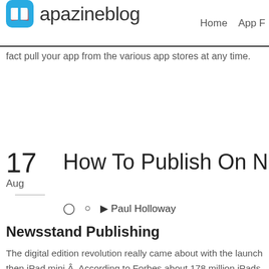apazineblog | Home | App F
fact pull your app from the various app stores at any time.
How To Publish On Newsstand
17 Aug
Paul Holloway
Newsstand Publishing
The digital edition revolution really came about with the launch then iPad mini.Â  According to Forbes about 178 million iPads ha 2013 (this does not any include iPad mini sales).